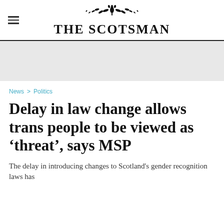THE SCOTSMAN
[Figure (other): Decorative thistle/floral emblem above The Scotsman newspaper logo]
News > Politics
Delay in law change allows trans people to be viewed as 'threat', says MSP
The delay in introducing changes to Scotland's gender recognition laws has